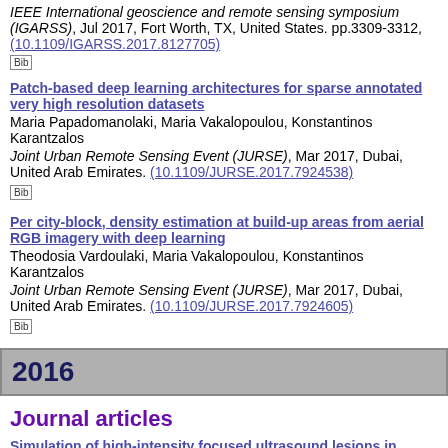IEEE International geoscience and remote sensing symposium (IGARSS), Jul 2017, Fort Worth, TX, United States. pp.3309-3312, (10.1109/IGARSS.2017.8127705)
[Bib]
Patch-based deep learning architectures for sparse annotated very high resolution datasets
Maria Papadomanolaki, Maria Vakalopoulou, Konstantinos Karantzalos
Joint Urban Remote Sensing Event (JURSE), Mar 2017, Dubai, United Arab Emirates. (10.1109/JURSE.2017.7924538)
[Bib]
Per city-block, density estimation at build-up areas from aerial RGB imagery with deep learning
Theodosia Vardoulaki, Maria Vakalopoulou, Konstantinos Karantzalos
Joint Urban Remote Sensing Event (JURSE), Mar 2017, Dubai, United Arab Emirates. (10.1109/JURSE.2017.7924605)
[Bib]
2016
Journal articles
Simulation of high-intensity focused ultrasound lesions in